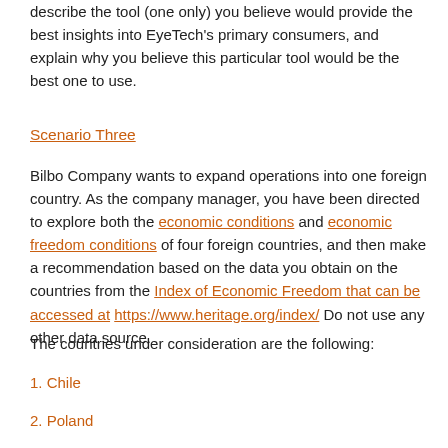describe the tool (one only) you believe would provide the best insights into EyeTech's primary consumers, and explain why you believe this particular tool would be the best one to use.
Scenario Three
Bilbo Company wants to expand operations into one foreign country. As the company manager, you have been directed to explore both the economic conditions and economic freedom conditions of four foreign countries, and then make a recommendation based on the data you obtain on the countries from the Index of Economic Freedom that can be accessed at https://www.heritage.org/index/ Do not use any other data source.
The countries under consideration are the following:
1. Chile
2. Poland